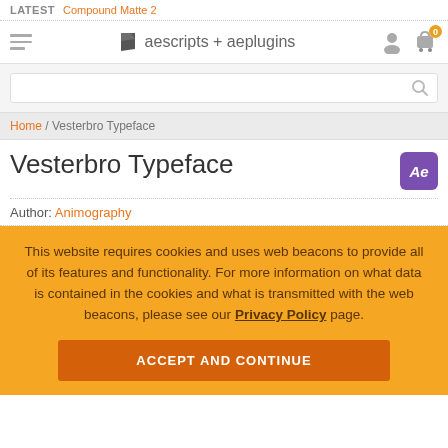LATEST  Compound Matte 2
[Figure (logo): aescripts + aeplugins logo with navigation hamburger menu, user icon, and cart icon]
[Figure (screenshot): Search bar with magnifying glass icon]
Home / Vesterbro Typeface
Vesterbro Typeface
Author: Animography
This website requires cookies and uses web beacons to provide all of its features and functionality. For more information on what data is contained in the cookies and what is transmitted with the web beacons, please see our Privacy Policy page.
ACCEPT AND CONTINUE